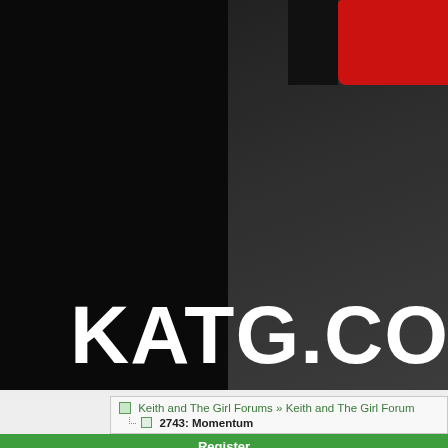[Figure (screenshot): KATG.com website header with dark background, partial photo of a person in dark clothing, red element in top right corner, and large white bold text reading KATG.COM]
KATG.COM
Keith and The Girl Forums » Keith and The Girl Foru…
2743: Momentum
Register
Show Talk Talk about the show